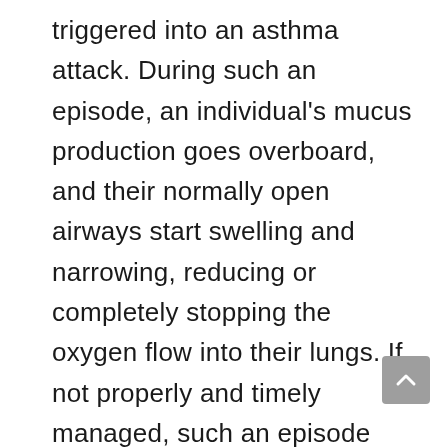triggered into an asthma attack. During such an episode, an individual's mucus production goes overboard, and their normally open airways start swelling and narrowing, reducing or completely stopping the oxygen flow into their lungs. If not properly and timely managed, such an episode can result in death. In fact, over 345 thousand people around the world die from this disease every year, the majority of this number making people who have lower incomes and live in developed countries (putting them at a higher chance to get asthma than people in developing countries, but a lower chance to be able to